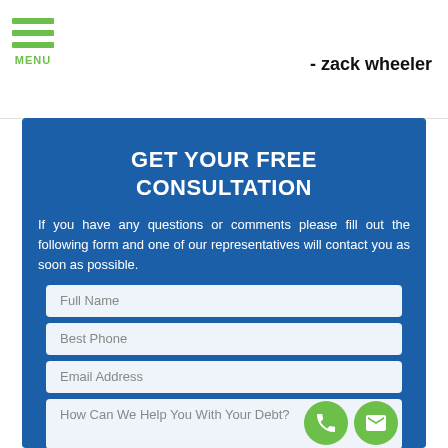MENU
- zack wheeler
GET YOUR FREE CONSULTATION
If you have any questions or comments please fill out the following form and one of our representatives will contact you as soon as possible.
Full Name
Best Phone
Email Address
How Can We Help You With Your Debt?